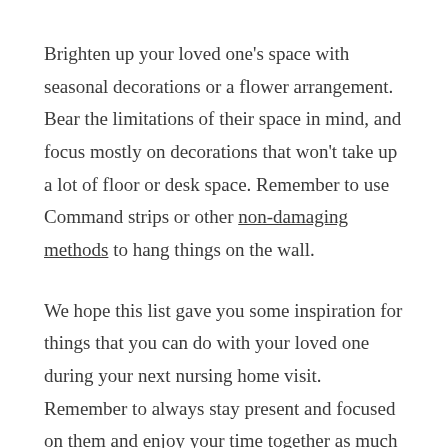Brighten up your loved one's space with seasonal decorations or a flower arrangement. Bear the limitations of their space in mind, and focus mostly on decorations that won't take up a lot of floor or desk space. Remember to use Command strips or other non-damaging methods to hang things on the wall.
We hope this list gave you some inspiration for things that you can do with your loved one during your next nursing home visit. Remember to always stay present and focused on them and enjoy your time together as much as possible.